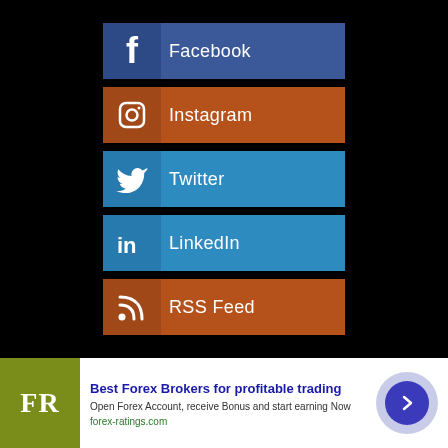Facebook
Instagram
Twitter
LinkedIn
RSS Feed
[Figure (infographic): Advertisement banner for Forex Ratings showing FR logo, heading 'Best Forex Brokers for profitable trading', subtext 'Open Forex Account, receive Bonus and start earning Now', URL 'forex-ratings.com', and a blue circular CTA button with right arrow]
Best Forex Brokers for profitable trading
Open Forex Account, receive Bonus and start earning Now
forex-ratings.com